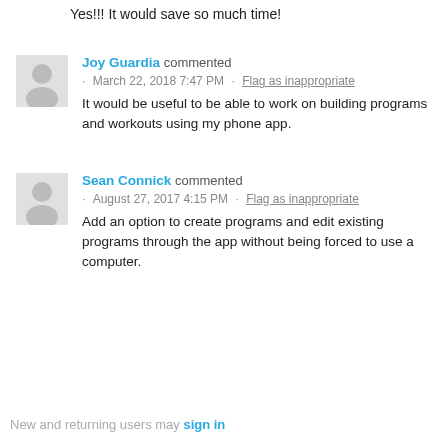Yes!!! It would save so much time!
Joy Guardia commented · March 22, 2018 7:47 PM · Flag as inappropriate
It would be useful to be able to work on building programs and workouts using my phone app.
Sean Connick commented · August 27, 2017 4:15 PM · Flag as inappropriate
Add an option to create programs and edit existing programs through the app without being forced to use a computer.
New and returning users may sign in